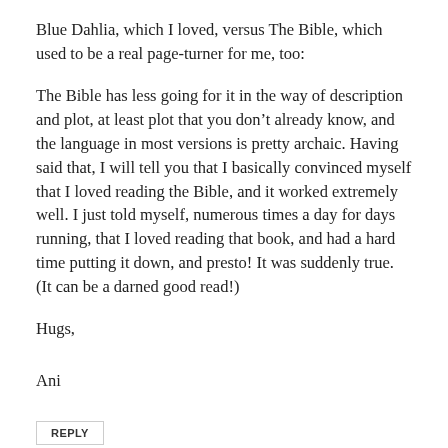Blue Dahlia, which I loved, versus The Bible, which used to be a real page-turner for me, too:
The Bible has less going for it in the way of description and plot, at least plot that you don’t already know, and the language in most versions is pretty archaic. Having said that, I will tell you that I basically convinced myself that I loved reading the Bible, and it worked extremely well. I just told myself, numerous times a day for days running, that I loved reading that book, and had a hard time putting it down, and presto! It was suddenly true. (It can be a darned good read!)
Hugs,
Ani
REPLY